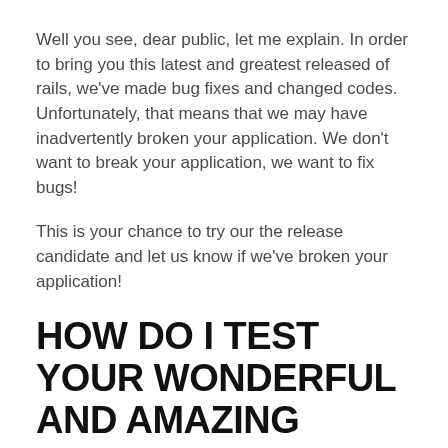Well you see, dear public, let me explain. In order to bring you this latest and greatest released of rails, we've made bug fixes and changed codes. Unfortunately, that means that we may have inadvertently broken your application. We don't want to break your application, we want to fix bugs!
This is your chance to try our the release candidate and let us know if we've broken your application!
HOW DO I TEST YOUR WONDERFUL AND AMAZING RELEASE CANDIDATE?
Very simple! If you're using bundler, just update your